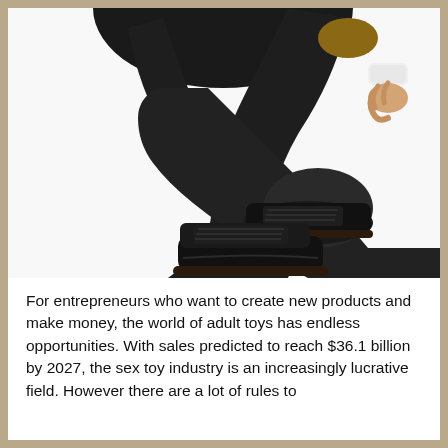[Figure (photo): A person in a black suit and black shoes crouching/squatting, photographed from approximately waist down. The person is wearing black dress pants, black lace-up shoes, and a white shirt cuff is visible. The background is white.]
For entrepreneurs who want to create new products and make money, the world of adult toys has endless opportunities. With sales predicted to reach $36.1 billion by 2027, the sex toy industry is an increasingly lucrative field. However there are a lot of rules to